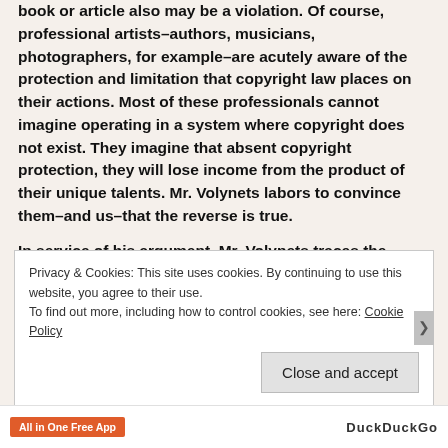book or article also may be a violation. Of course, professional artists–authors, musicians, photographers, for example–are acutely aware of the protection and limitation that copyright law places on their actions. Most of these professionals cannot imagine operating in a system where copyright does not exist. They imagine that absent copyright protection, they will lose income from the product of their unique talents. Mr. Volynets labors to convince them–and us–that the reverse is true.
In service of his argument, Mr. Volynets traces the history of modern copyright laws. He points to a time in France (Jacobin era) and England (before 1710) when these laws did not exist and explains that their application was designed to benefit
Privacy & Cookies: This site uses cookies. By continuing to use this website, you agree to their use.
To find out more, including how to control cookies, see here: Cookie Policy
Close and accept